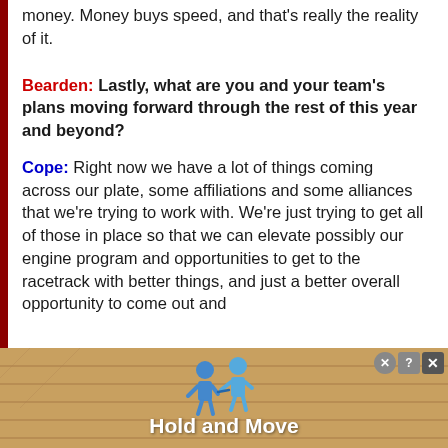money. Money buys speed, and that's really the reality of it.
Bearden: Lastly, what are you and your team's plans moving forward through the rest of this year and beyond?
Cope: Right now we have a lot of things coming across our plate, some affiliations and some alliances that we're trying to work with. We're just trying to get all of those in place so that we can elevate possibly our engine program and opportunities to get to the racetrack with better things, and just a better overall opportunity to come out and
[Figure (infographic): Advertisement banner showing 'Hold and Move' with blue cartoon figures on a wooden background]